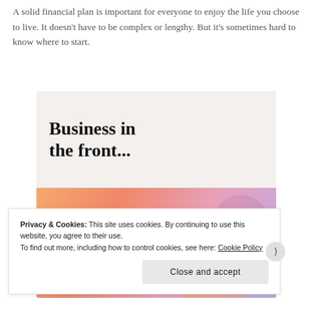A solid financial plan is important for everyone to enjoy the life you choose to live. It doesn't have to be complex or lengthy. But it's sometimes hard to know where to start.
[Figure (illustration): Advertisement banner with two sections: top gray section with bold text 'Business in the front...', and bottom orange/pink gradient section with bold text 'WordPress in the back.' with decorative bubbles.]
Privacy & Cookies: This site uses cookies. By continuing to use this website, you agree to their use.
To find out more, including how to control cookies, see here: Cookie Policy
Close and accept